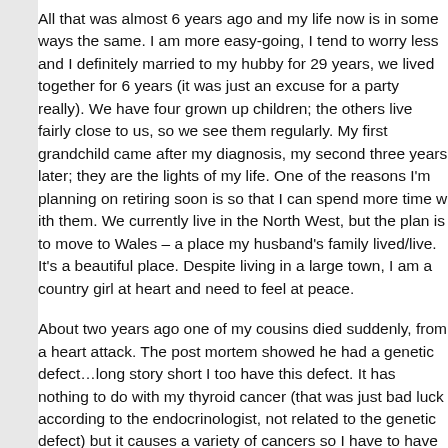All that was almost 6 years ago and my life now is in some ways the same. I am more easy-going, I tend to worry less and I defi... married to my hubby for 29 years, we lived together for 6 ye... was just an excuse for a party really). We have four grown... the others live fairly close to us, so we see them regularly. M... my diagnosis, my second three years later; they are the lig... planning on retiring soon is so that I can spend more time w... in the North West, but the plan is to move to Wales – a pla... place. Despite living in a large town, I am a country girl at h... to feel at peace.
About two years ago one of my cousins died suddenly, fro... showed he had a genetic defect…long story short I too hav... cancer (that was just bad luck according to the endocrino... defect) but it causes a variety of cancers so I have to have... for them, MRIs, CTs, 24-hour urine samples, blood tests… be having those tests, because I figure if there's anything lu... the other hand, there are days when I wish I'd never have t... got the most amazing news earlier this year that our two gr... I don't think I've even been happier than when I heard that...